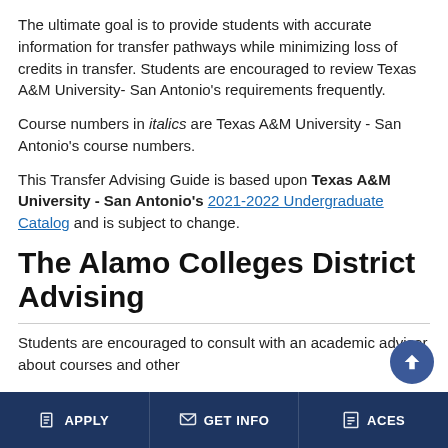The ultimate goal is to provide students with accurate information for transfer pathways while minimizing loss of credits in transfer. Students are encouraged to review Texas A&M University- San Antonio’s requirements frequently.
Course numbers in italics are Texas A&M University - San Antonio’s course numbers.
This Transfer Advising Guide is based upon Texas A&M University - San Antonio’s 2021-2022 Undergraduate Catalog and is subject to change.
The Alamo Colleges District Advising
Students are encouraged to consult with an academic advisor about courses and other
APPLY   GET INFO   ACES